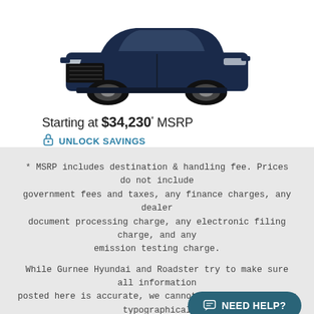[Figure (photo): Front three-quarter view of a dark navy blue Hyundai Tucson SUV on a white background]
Starting at $34,230* MSRP
UNLOCK SAVINGS
* MSRP includes destination & handling fee. Prices do not include government fees and taxes, any finance charges, any dealer document processing charge, any electronic filing charge, and any emission testing charge.
While Gurnee Hyundai and Roadster try to make sure all information posted here is accurate, we cannot be responsible for typographical and other errors (e.g., data transmission) site. If the posted price (including finance and lease payments) for a
NEED HELP?